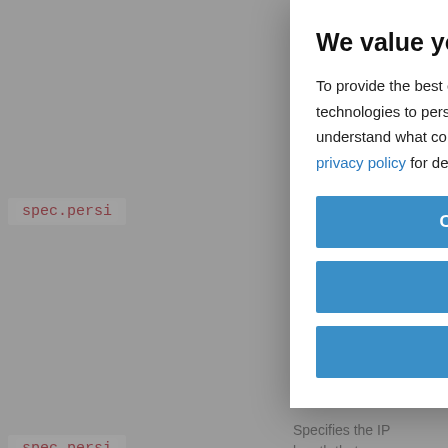[Figure (screenshot): Background page showing technical documentation with code parameters (spec.persi..., icmp.inter...), descriptive text about IP routing and cache, a monitors section, and a Parameter/Description table. Content is partially obscured by a privacy consent modal overlay.]
We value your privacy
To provide the best experience, we leverage third-party technologies to personalize what you see, and to better understand what content is important to you. View our privacy policy for details.
Customize Settings
No thanks
Count me in